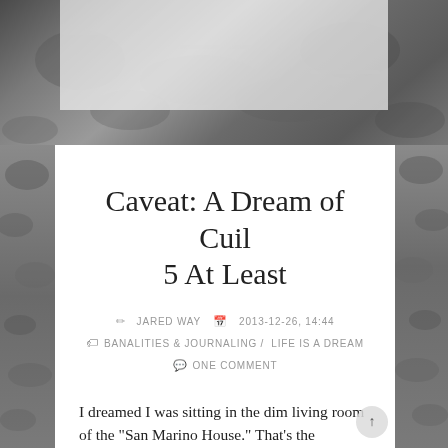[Figure (photo): Rocky beach or coastal stone/gravel terrain photograph serving as page background, visible at top and sides]
Caveat: A Dream of Cuil 5 At Least
JARED WAY   2013-12-26, 14:44
BANALITIES & JOURNALING / LIFE IS A DREAM
ONE COMMENT
I dreamed I was sitting in the dim living room of the "San Marino House." That's the in-family name for the house my great-grandparents, John and Isabel Way, and later grandparents, John and Alice Way, lived in in the San Gabriel Valley east of Los Angeles. The house was in the family from